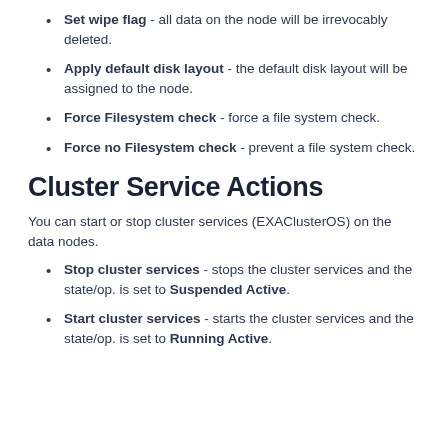Set wipe flag - all data on the node will be irrevocably deleted.
Apply default disk layout - the default disk layout will be assigned to the node.
Force Filesystem check - force a file system check.
Force no Filesystem check - prevent a file system check.
Cluster Service Actions
You can start or stop cluster services (EXAClusterOS) on the data nodes.
Stop cluster services - stops the cluster services and the state/op. is set to Suspended Active.
Start cluster services - starts the cluster services and the state/op. is set to Running Active.